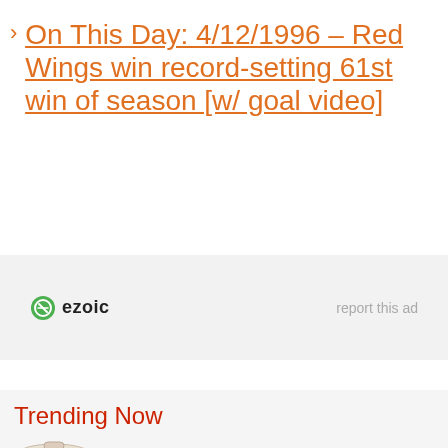On This Day: 4/12/1996 – Red Wings win record-setting 61st win of season [w/ goal video]
[Figure (other): Ezoic advertisement placeholder with ezoic logo and 'report this ad' link on gray background]
Trending Now
[Figure (other): Thumbnail image partially visible at bottom of page]